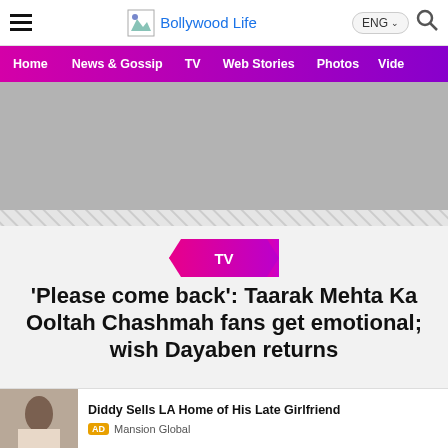Bollywood Life
[Figure (screenshot): Gray advertisement placeholder area]
[Figure (infographic): TV category badge/ribbon in pink-magenta gradient]
'Please come back': Taarak Mehta Ka Ooltah Chashmah fans get emotional; wish Dayaben returns
[Figure (photo): Advertisement: Diddy Sells LA Home of His Late Girlfriend - Mansion Global]
Diddy Sells LA Home of His Late Girlfriend - AD Mansion Global